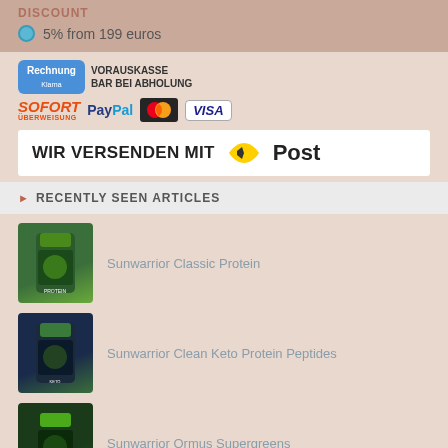DISCOUNT
5% from 199 euros
[Figure (logo): Payment logos: Rechnung Klarna, VORAUSKASSE BAR BEI ABHOLUNG, SOFORT ÜBERWEISUNG, PayPal, MasterCard, VISA]
[Figure (logo): WIR VERSENDEN MIT Post logo (Austrian Post)]
RECENTLY SEEN ARTICLES
[Figure (photo): Sunwarrior Classic Protein product image - green container]
Sunwarrior Classic Protein
[Figure (photo): Sunwarrior Clean Keto Protein Peptides product image - dark container]
Sunwarrior Clean Keto Protein Peptides
[Figure (photo): Sunwarrior Ormus Supergreens product image - dark green container]
Sunwarrior Ormus Supergreens
[Figure (photo): Sunwarrior Classic Plus product image - golden/orange container]
Sunwarrior Classic Plus